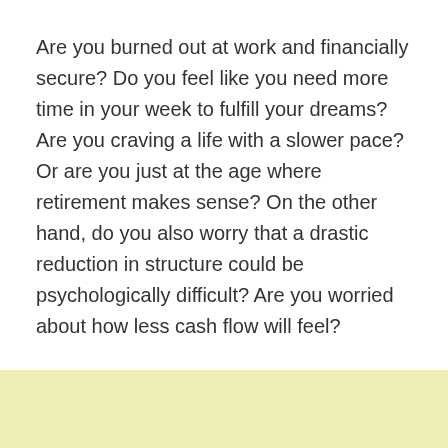Are you burned out at work and financially secure? Do you feel like you need more time in your week to fulfill your dreams? Are you craving a life with a slower pace? Or are you just at the age where retirement makes sense? On the other hand, do you also worry that a drastic reduction in structure could be psychologically difficult? Are you worried about how less cash flow will feel?